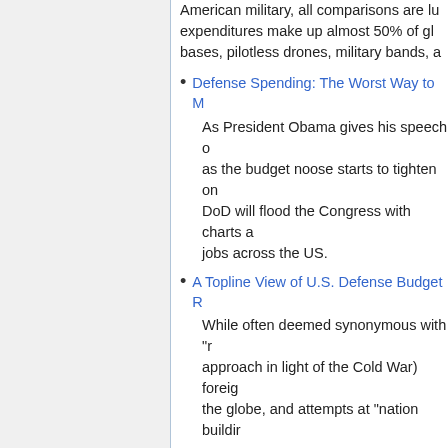American military, all comparisons are lu... expenditures make up almost 50% of gl... bases, pilotless drones, military bands, a...
Defense Spending: The Worst Way to M...
As President Obama gives his speech o... as the budget noose starts to tighten on... DoD will flood the Congress with charts a... jobs across the US.
A Topline View of U.S. Defense Budget R...
While often deemed synonymous with "r... approach in light of the Cold War) foreig... the globe, and attempts at "nation buildir...
Secret Detention • Torture • Kill Lis...
New York Times - The Opinion Pages | B... Bosses
President Obama has said multiple times... looking backwards," as though the two w... way without coming to terms, legally and...